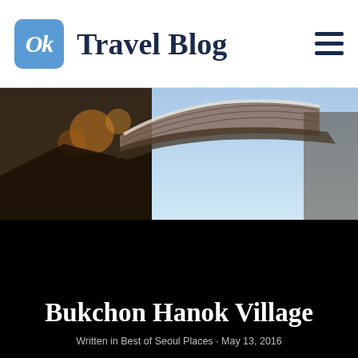Ok Travel Blog
[Figure (photo): Partial view of a traditional Korean hanok building with wooden eaves and tiled roof against a light blue sky, photograph taken at dusk or dawn]
Bukchon Hanok Village
Written in Best of Seoul Places · May 13, 2016